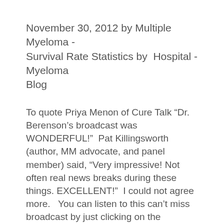November 30, 2012 by Multiple Myeloma - Survival Rate Statistics by Hospital - Myeloma Blog
To quote Priya Menon of Cure Talk “Dr. Berenson’s broadcast was WONDERFUL!”  Pat Killingsworth (author, MM advocate, and panel member) said, “Very impressive! Not often real news breaks during these things. EXCELLENT!”  I could not agree more.   You can listen to this can’t miss broadcast by just clicking on the link:http://trialx.com/curetalk/2012/11/let-people-live-their-lives-listen-to-dr-berenson-on-myeloma-treatment-without-transplant-cure-panel-talk-show-broadcast/
This broadcast has a wealth of information, and